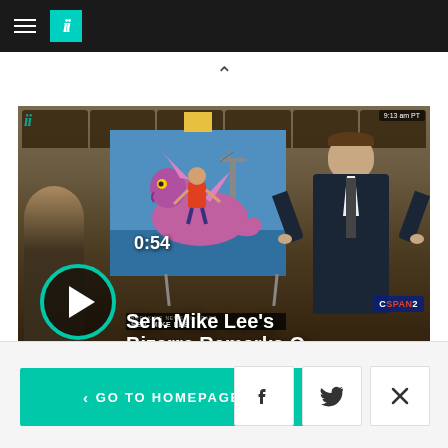HuffPost navigation bar with hamburger menu and logo
[Figure (screenshot): Video thumbnail showing Senator Mike Lee on the Senate floor with a cartoon poster of a person riding a large pink seahorse-like creature. Play button overlay with duration 0:54 and title 'Sen. Mike Lee’s Bizarre Remarks O...' Text includes C-SPAN2 branding and timestamp 9:13 am PT.]
GO TO HOMEPAGE
[Figure (logo): Facebook icon button]
[Figure (logo): Twitter/X icon button]
[Figure (other): Close (X) button]